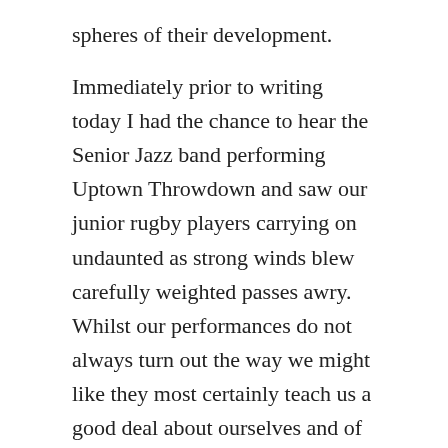spheres of their development.
Immediately prior to writing today I had the chance to hear the Senior Jazz band performing Uptown Throwdown and saw our junior rugby players carrying on undaunted as strong winds blew carefully weighted passes awry. Whilst our performances do not always turn out the way we might like they most certainly teach us a good deal about ourselves and of what we are capable.
If we are to build resilience in our young people, we need to encourage them to perform. Not simply to do so in a quiet exam room, but to find a voice, develop their opinions, to share their learning and enjoy their knowledge. The last two years have curtailed this